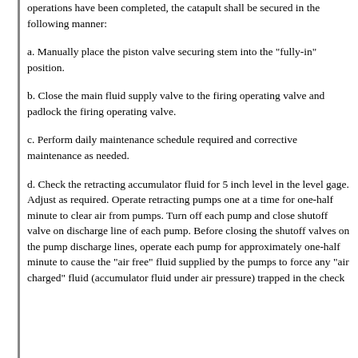operations have been completed, the catapult shall be secured in the following manner:
a. Manually place the piston valve securing stem into the "fully-in" position.
b. Close the main fluid supply valve to the firing operating valve and padlock the firing operating valve.
c. Perform daily maintenance schedule required and corrective maintenance as needed.
d. Check the retracting accumulator fluid for 5 inch level in the level gage. Adjust as required. Operate retracting pumps one at a time for one-half minute to clear air from pumps. Turn off each pump and close shutoff valve on discharge line of each pump. Before closing the shutoff valves on the pump discharge lines, operate each pump for approximately one-half minute to cause the "air free" fluid supplied by the pumps to force any "air charged" fluid (accumulator fluid under air pressure) trapped in the check